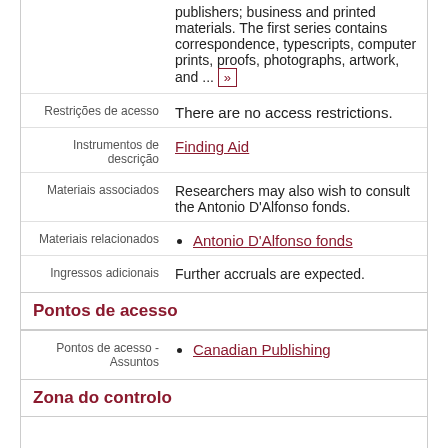publishers; business and printed materials. The first series contains correspondence, typescripts, computer prints, proofs, photographs, artwork, and ... »
Restrições de acesso
There are no access restrictions.
Instrumentos de descrição
Finding Aid
Materiais associados
Researchers may also wish to consult the Antonio D'Alfonso fonds.
Materiais relacionados
Antonio D'Alfonso fonds
Ingressos adicionais
Further accruals are expected.
Pontos de acesso
Pontos de acesso - Assuntos
Canadian Publishing
Zona do controlo